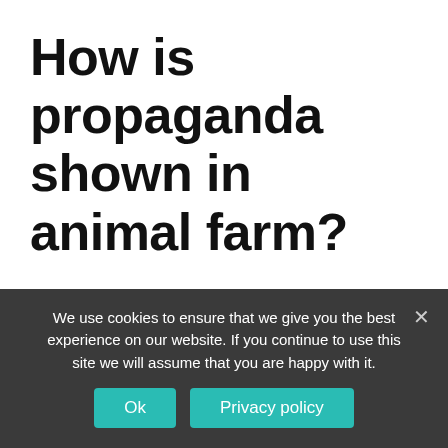How is propaganda shown in animal farm?
In Animal Farm, propaganda was frequently used by the three main pigs (Napoleon, Squealer and Snowball) to persuade the animals to agree with their ideas and decisions. When the windmill was knocked
We use cookies to ensure that we give you the best experience on our website. If you continue to use this site we will assume that you are happy with it.